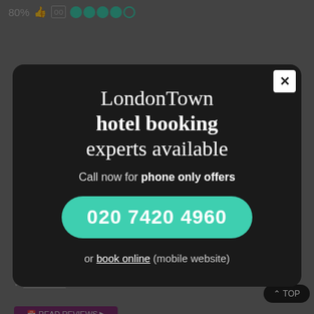[Figure (screenshot): 80% rating with thumbs up icon and TripAdvisor logo with 4 circles rating in top bar]
ADDRESS
350 Oxford Street, London W1C 1RY
LOCATION
On Oxford Str...
NEARBY
Telephone: 020 7420 4956
From USA dial...
FACILITIES
FREE WIFI
SHARE:
LondonTown hotel booking experts available
Call now for phone only offers
020 7420 4960
or book online (mobile website)